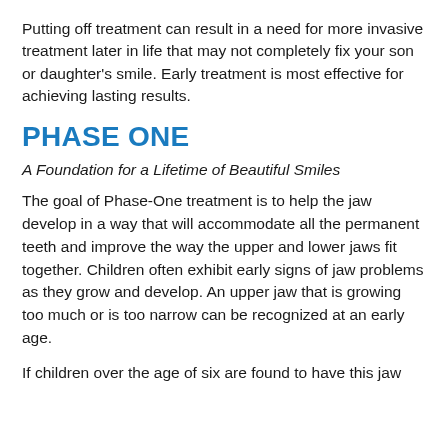Putting off treatment can result in a need for more invasive treatment later in life that may not completely fix your son or daughter’s smile. Early treatment is most effective for achieving lasting results.
PHASE ONE
A Foundation for a Lifetime of Beautiful Smiles
The goal of Phase-One treatment is to help the jaw develop in a way that will accommodate all the permanent teeth and improve the way the upper and lower jaws fit together. Children often exhibit early signs of jaw problems as they grow and develop. An upper jaw that is growing too much or is too narrow can be recognized at an early age.
If children over the age of six are found to have this jaw